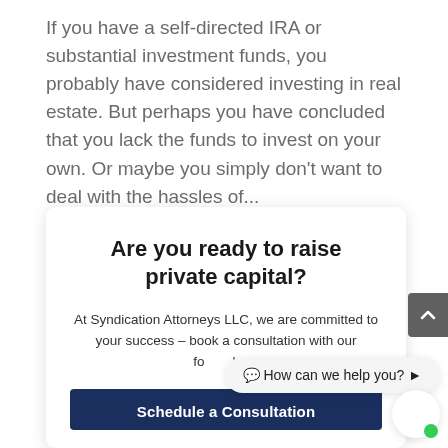If you have a self-directed IRA or substantial investment funds, you probably have considered investing in real estate. But perhaps you have concluded that you lack the funds to invest on your own. Or maybe you simply don't want to deal with the hassles of...
Are you ready to raise private capital?
At Syndication Attorneys LLC, we are committed to your success – book a consultation with our for...bers
[Figure (screenshot): Chat bubble overlay showing 'How can we help you?' message with chat widget]
Schedule a Consultation